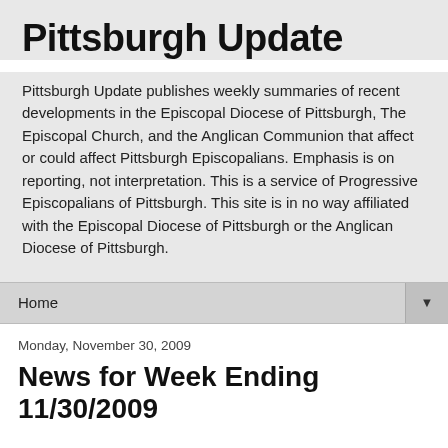Pittsburgh Update
Pittsburgh Update publishes weekly summaries of recent developments in the Episcopal Diocese of Pittsburgh, The Episcopal Church, and the Anglican Communion that affect or could affect Pittsburgh Episcopalians. Emphasis is on reporting, not interpretation. This is a service of Progressive Episcopalians of Pittsburgh. This site is in no way affiliated with the Episcopal Diocese of Pittsburgh or the Anglican Diocese of Pittsburgh.
Home ▼
Monday, November 30, 2009
News for Week Ending 11/30/2009
Brazilian church expresses reservations about covenant
The Anglican Episcopal Church of Brazil (IEAB) released its official response to Section 4 of the proposed Anglican covenant on November 24, 2009. (The 8-page English